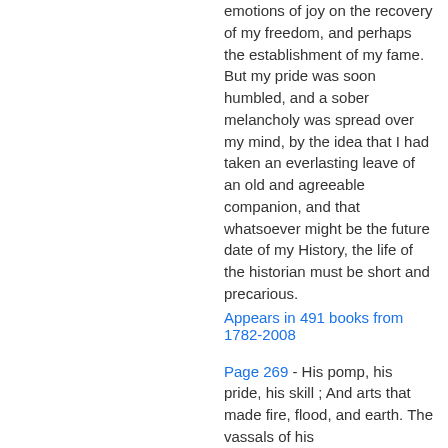emotions of joy on the recovery of my freedom, and perhaps the establishment of my fame. But my pride was soon humbled, and a sober melancholy was spread over my mind, by the idea that I had taken an everlasting leave of an old and agreeable companion, and that whatsoever might be the future date of my History, the life of the historian must be short and precarious.
Appears in 491 books from 1782-2008
Page 269 - His pomp, his pride, his skill ; And arts that made fire, flood, and earth. The vassals of his